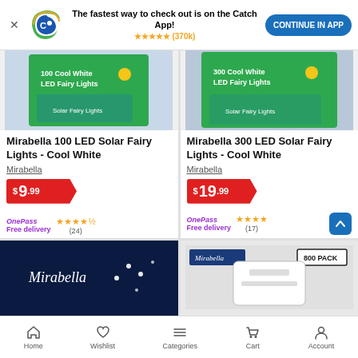[Figure (screenshot): App download banner with Catch logo, text 'The fastest way to check out is on the Catch App!', 5 stars (370k reviews), and 'CONTINUE IN APP' button]
[Figure (photo): Mirabella 100 LED Solar Fairy Lights - Cool White product image with green packaging]
Mirabella 100 LED Solar Fairy Lights - Cool White
Mirabella
$9.99
OnePass Free delivery ★★★★½ (24)
[Figure (photo): Mirabella 300 LED Solar Fairy Lights - Cool White product image with green packaging]
Mirabella 300 LED Solar Fairy Lights - Cool White
Mirabella
$19.99
OnePass Free delivery ★★★★ (17)
[Figure (photo): Mirabella fairy lights on dark background]
[Figure (photo): Mirabella 800 pack product on light background]
Home  Wishlist  Categories  Cart  Account